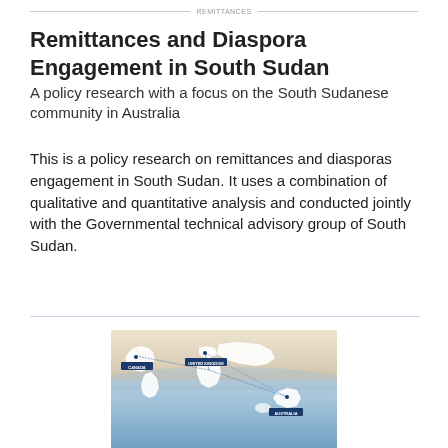Remittances and Diaspora Engagement in South Sudan
A policy research with a focus on the South Sudanese community in Australia
This is a policy research on remittances and diasporas engagement in South Sudan. It uses a combination of qualitative and quantitative analysis and conducted jointly with the Governmental technical advisory group of South Sudan.
[Figure (map): World map showing connections from Canada and United Kingdom to Australia, overlaid on an ocean background, with labeled location markers for CANADA, UNITED KINGDOM, and AUSTRALIA connected by lines.]